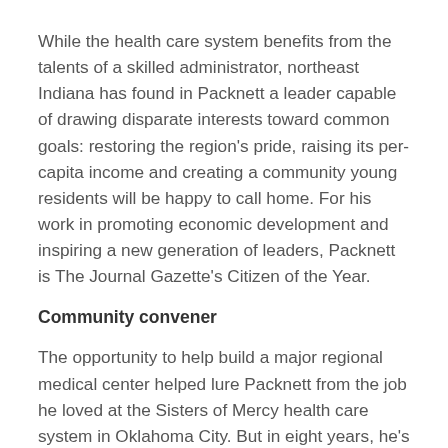While the health care system benefits from the talents of a skilled administrator, northeast Indiana has found in Packnett a leader capable of drawing disparate interests toward common goals: restoring the region's pride, raising its per-capita income and creating a community young residents will be happy to call home. For his work in promoting economic development and inspiring a new generation of leaders, Packnett is The Journal Gazette's Citizen of the Year.
Community convener
The opportunity to help build a major regional medical center helped lure Packnett from the job he loved at the Sisters of Mercy health care system in Oklahoma City. But in eight years, he's built much more than a $550 million regional medical center. Inspired by the success of a community turnaround he originally doubted, Packnett pushed northeast Indiana leaders to follow Oklahoma